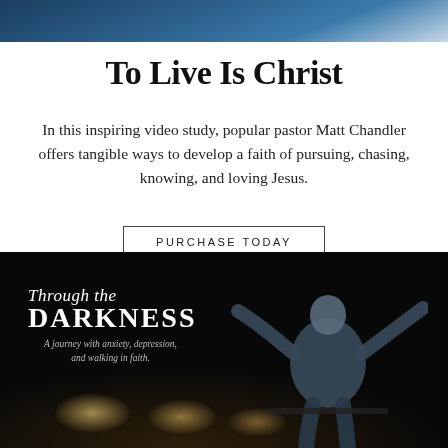[Figure (photo): Partial photo at top of page showing a person, cropped to show only the top portion with dark blue tones]
To Live Is Christ
In this inspiring video study, popular pastor Matt Chandler offers tangible ways to develop a faith of pursuing, chasing, knowing, and loving Jesus.
PURCHASE TODAY
[Figure (photo): Dark stage photo showing a man with arms outstretched, with text overlay reading 'Through the DARKNESS — A journey with anxiety, depression, and walking in faith.' Stage lights visible at bottom.]